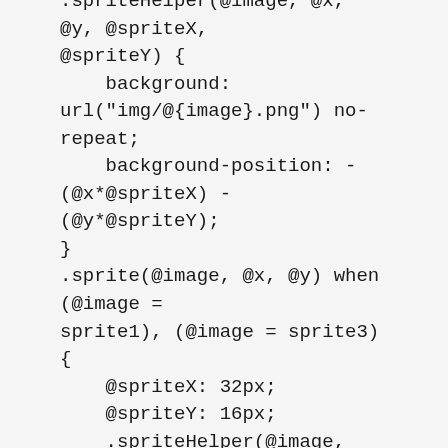.spriteHelper(@image, @x, @y, @spriteX, @spriteY) {
    background: url("img/@{image}.png") no-repeat;
    background-position: -(@x*@spriteX) -(@y*@spriteY);
}
.sprite(@image, @x, @y) when (@image = sprite1), (@image = sprite3){
    @spriteX: 32px;
    @spriteY: 16px;
    .spriteHelper(@image, @x, @y, @spriteX, @spriteY);
}
.sprite(@image, @x, @y) when (@image = sprite2){